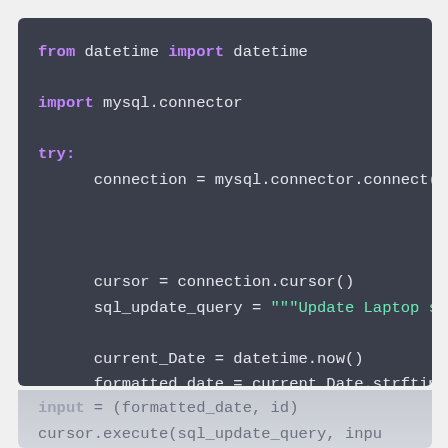[Figure (screenshot): Python code snippet on dark background showing: from datetime import datetime, import mysql.connector, try: block with connection = mysql.connector.connect(, cursor = connection.cursor(), sql_update_query = """Update Laptop s, current_Date = datetime.now(), formatted_date = current_Date.strftim, id = 2, and faded lines: input = (formatted_date, id), cursor.execute(sql_update_query, inpu]